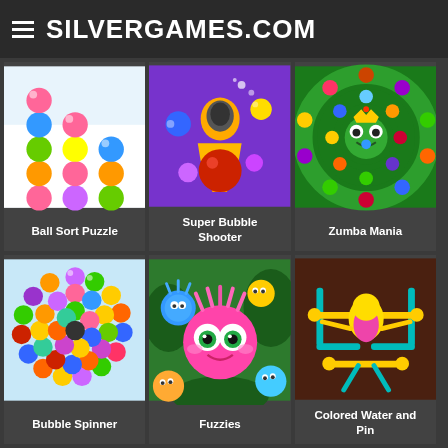SILVERGAMES.COM
[Figure (screenshot): Ball Sort Puzzle game thumbnail showing colorful stacked balls in tubes on white/blue background]
Ball Sort Puzzle
[Figure (screenshot): Super Bubble Shooter game thumbnail showing a colorful bubble shooter cannon with bubbles on purple background]
Super Bubble Shooter
[Figure (screenshot): Zumba Mania game thumbnail showing a frog on a spiral of colored balls on green background]
Zumba Mania
[Figure (screenshot): Bubble Spinner game thumbnail showing a circular arrangement of colorful marbles on light blue background]
Bubble Spinner
[Figure (screenshot): Fuzzies game thumbnail showing colorful fuzzy creature characters in a jungle setting]
Fuzzies
[Figure (screenshot): Colored Water and Pin game thumbnail showing yellow and teal stick figure with colored pins on brown background]
Colored Water and Pin